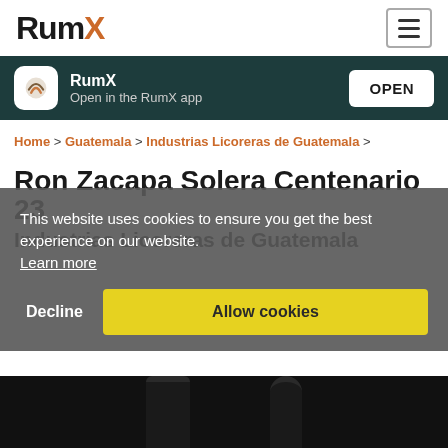RumX
[Figure (screenshot): RumX app banner with icon and OPEN button on dark teal background]
Home > Guatemala > Industrias Licoreras de Guatemala >
Ron Zacapa Solera Centenario 23
Industrias Licoreras de Guatemala
This website uses cookies to ensure you get the best experience on our website. Learn more
Decline    Allow cookies
[Figure (photo): Tops of two dark rum bottles visible at bottom of page]